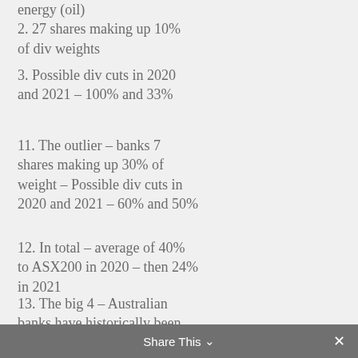energy (oil)
2. 27 shares making up 10% of div weights
3. Possible div cuts in 2020 and 2021 – 100% and 33%
11. The outlier – banks 7 shares making up 30% of weight – Possible div cuts in 2020 and 2021 – 60% and 50%
12. In total – average of 40% to ASX200 in 2020 – then 24% in 2021
13. The big 4 – Australian banks have historically been key features of any yield portfolio due to steady franked dividends
Share This ∨  ✕